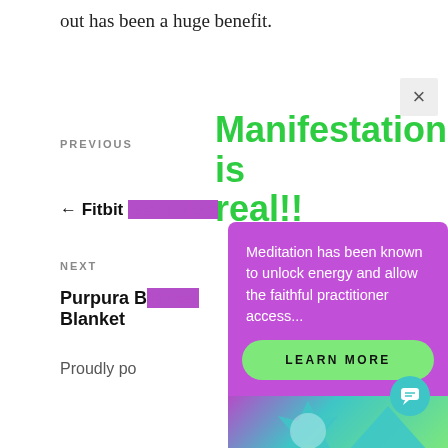out has been a huge benefit.
Manifestation is real!!
PREVIOUS
← Fitbit Blaze More
NEXT
Purpura Blanket
Proudly po
Meditation has been known to unlock energy and allow the faithful practitioner access...
LEARN MORE
Proudly po